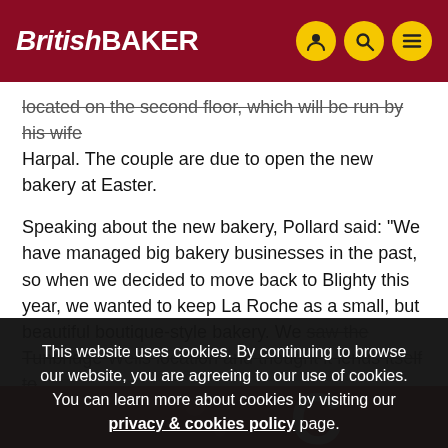BritishBAKER
located on the second floor, which will be run by his wife Harpal. The couple are due to open the new bakery at Easter.
Speaking about the new bakery, Pollard said: “We have managed big bakery businesses in the past, so when we decided to move back to Blighty this year, we wanted to keep La Roche as a small, but beautiful boutique-style bakery. We saw the Tunbridge Wells location and thought it lends itself to w... an... ba...
This website uses cookies. By continuing to browse our website, you are agreeing to our use of cookies. You can learn more about cookies by visiting our privacy & cookies policy page.
[Figure (other): Red banner at bottom with decorative circles and partial letter graphic in white]